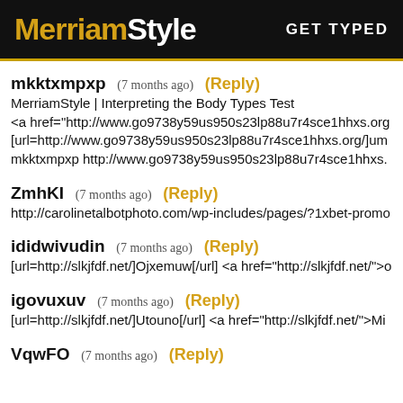MerriamStyle  GET TYPED
mkktxmpxp  (7 months ago)  (Reply)
MerriamStyle | Interpreting the Body Types Test
<a href="http://www.go9738y59us950s23lp88u7r4sce1hhxs.org
[url=http://www.go9738y59us950s23lp88u7r4sce1hhxs.org/]um
mkktxmpxp http://www.go9738y59us950s23lp88u7r4sce1hhxs.
ZmhKI  (7 months ago)  (Reply)
http://carolinetalbotphoto.com/wp-includes/pages/?1xbet-promo
ididwivudin  (7 months ago)  (Reply)
[url=http://slkjfdf.net/]Ojxemuw[/url] <a href="http://slkjfdf.net/">o
igovuxuv  (7 months ago)  (Reply)
[url=http://slkjfdf.net/]Utouno[/url] <a href="http://slkjfdf.net/">Mi
VqwFO  (7 months ago)  (Reply)